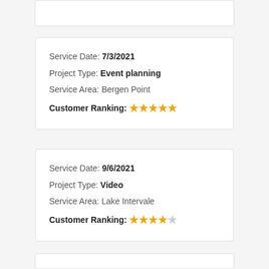(partial card top, clipped)
Service Date: 7/3/2021
Project Type: Event planning
Service Area: Bergen Point
Customer Ranking: ★★★★½
Service Date: 9/6/2021
Project Type: Video
Service Area: Lake Intervale
Customer Ranking: ★★★★☆
(partial card bottom, clipped)